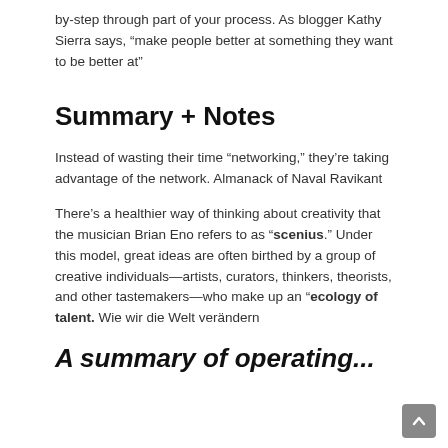by-step through part of your process. As blogger Kathy Sierra says, “make people better at something they want to be better at”
Summary + Notes
Instead of wasting their time “networking,” they’re taking advantage of the network. Almanack of Naval Ravikant
There’s a healthier way of thinking about creativity that the musician Brian Eno refers to as “scenious.” Under this model, great ideas are often birthed by a group of creative individuals—artists, curators, thinkers, theorists, and other tastemakers—who make up an “ecology of talent. Wie wir die Welt verändern
A summary of operating...